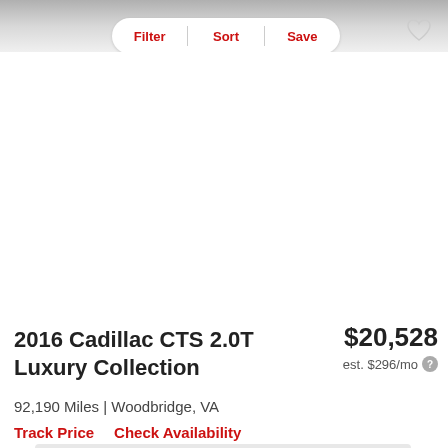Filter | Sort | Save
[Figure (other): Car listing image area (blank/white)]
2016 Cadillac CTS 2.0T Luxury Collection
$20,528
est. $296/mo
92,190 Miles | Woodbridge, VA
Track Price
Check Availability